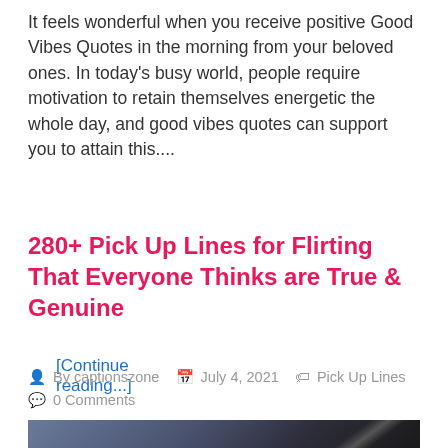It feels wonderful when you receive positive Good Vibes Quotes in the morning from your beloved ones. In today's busy world, people require motivation to retain themselves energetic the whole day, and good vibes quotes can support you to attain this....
[Continue reading...]
280+ Pick Up Lines for Flirting That Everyone Thinks are True & Genuine
By captionszone  July 4, 2021  Pick Up Lines  0 Comments
[Figure (photo): Dark gradient image with diagonal stripe element, appears to be a decorative header image]